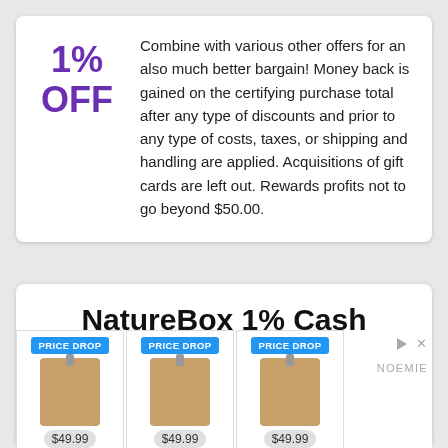1% OFF
Combine with various other offers for an also much better bargain! Money back is gained on the certifying purchase total after any type of discounts and prior to any type of costs, taxes, or shipping and handling are applied. Acquisitions of gift cards are left out. Rewards profits not to go beyond $50.00.
NatureBox 1% Cash Back For Online
[Figure (infographic): Advertisement showing three product images with PRICE DROP badges and $49.99 price tags, alongside a brand logo 'NOEMIE' and ad controls.]